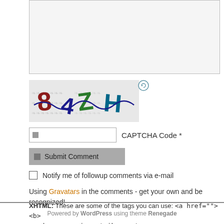[Figure (other): Text area input box (grayed out, empty)]
[Figure (other): CAPTCHA image showing distorted characters: 84ZH with decorative background noise and a refresh icon]
CAPTCHA Code *
Submit Comment
Notify me of followup comments via e-mail
Using Gravatars in the comments - get your own and be recognized!
XHTML: These are some of the tags you can use: <a href=""> <b> <code> <em> <i> <strike> <strong>
Powered by WordPress using theme Renegade